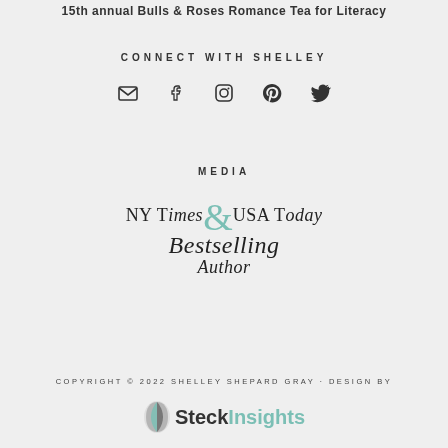15th annual Bulls & Roses Romance Tea for Literacy
CONNECT WITH SHELLEY
[Figure (infographic): Social media icons: email, facebook, instagram, pinterest, twitter]
MEDIA
[Figure (logo): NY Times & USA Today Bestselling Author badge with teal ampersand]
COPYRIGHT © 2022 SHELLEY SHEPARD GRAY · DESIGN BY SteckInsights